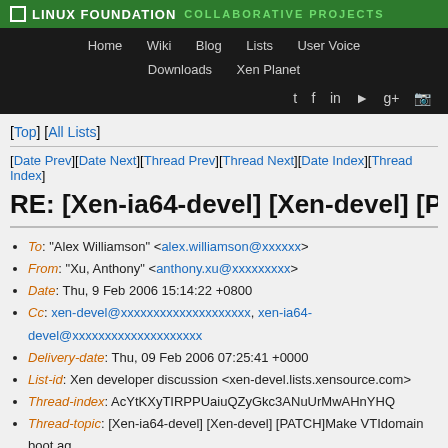LINUX FOUNDATION COLLABORATIVE PROJECTS
Home Wiki Blog Lists User Voice Downloads Xen Planet
To: "Alex Williamson" <alex.williamson@xxxxxx>
From: "Xu, Anthony" <anthony.xu@xxxxxxxxx>
Date: Thu, 9 Feb 2006 15:14:22 +0800
Cc: xen-devel@xxxxxxxxxxxxxxxxxxxx, xen-ia64-devel@xxxxxxxxxxxxxxxxxxxx
Delivery-date: Thu, 09 Feb 2006 07:25:41 +0000
List-id: Xen developer discussion <xen-devel.lists.xensource.com>
Thread-index: AcYtKXyTIRPPUaiuQZyGkc3ANuUrMwAHnYHQ
Thread-topic: [Xen-ia64-devel] [Xen-devel] [PATCH]Make VTIdomain boot ag
RE: [Xen-ia64-devel] [Xen-devel] [PATC